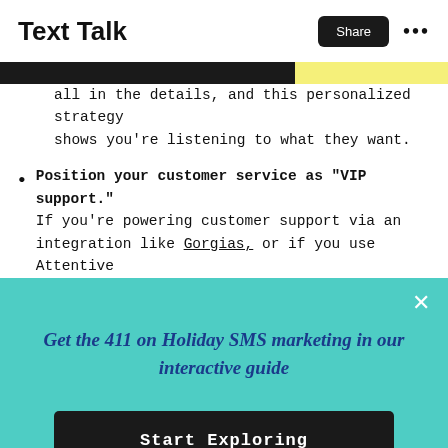Text Talk
all in the details, and this personalized strategy shows you're listening to what they want.
Position your customer service as "VIP support." If you're powering customer support via an integration like Gorgias, or if you use Attentive Concierge, make your subscribers feel special by reminding them they can get "VIP support" via SMS
Get the 411 on Holiday SMS marketing in our interactive guide
Start Exploring